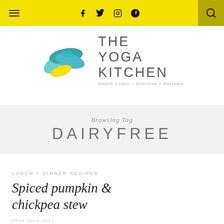≡  f  𝕏  📷  𝕡  🔍
[Figure (logo): The Yoga Kitchen logo with teal leaf graphic and text 'THE YOGA KITCHEN Health Coach + Nutrition + Retreats']
Browsing Tag DAIRYFREE
LUNCH + DINNER RECIPES
Spiced pumpkin & chickpea stew
25TH JULY 2021